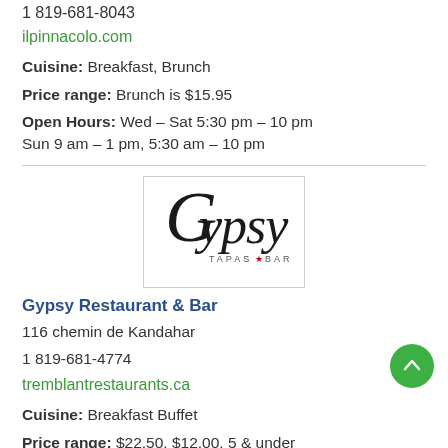1 819-681-8043
ilpinnacolo.com
Cuisine: Breakfast, Brunch
Price range: Brunch is $15.95
Open Hours: Wed – Sat 5:30 pm – 10 pm Sun 9 am – 1 pm, 5:30 am – 10 pm
[Figure (logo): Gypsy Tapas Bar logo with stylized cursive text]
Gypsy Restaurant & Bar
116 chemin de Kandahar
1 819-681-4774
tremblantrestaurants.ca
Cuisine: Breakfast Buffet
Price range: $22.50, $12.00, 5 & under